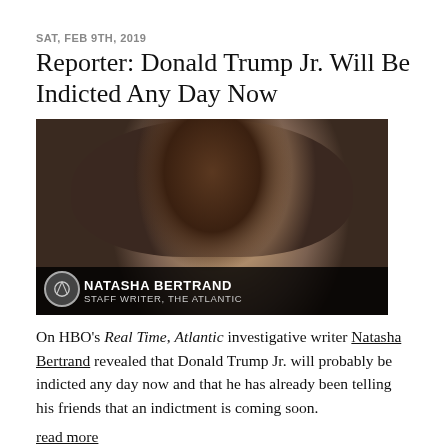SAT, FEB 9TH, 2019
Reporter: Donald Trump Jr. Will Be Indicted Any Day Now
[Figure (photo): TV screenshot of Natasha Bertrand, Staff Writer for The Atlantic, appearing on HBO's Real Time. Lower-third graphic reads: NATASHA BERTRAND / STAFF WRITER, THE ATLANTIC]
On HBO's Real Time, Atlantic investigative writer Natasha Bertrand revealed that Donald Trump Jr. will probably be indicted any day now and that he has already been telling his friends that an indictment is coming soon.
read more